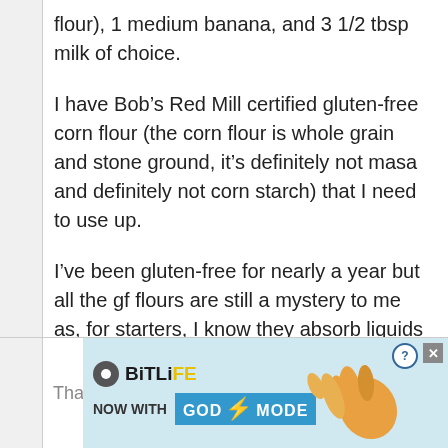flour), 1 medium banana, and 3 1/2 tbsp milk of choice.
I have Bob’s Red Mill certified gluten-free corn flour (the corn flour is whole grain and stone ground, it’s definitely not masa and definitely not corn starch) that I need to use up.
I’ve been gluten-free for nearly a year but all the gf flours are still a mystery to me as, for starters, I know they absorb liquids different and have different protein contents.
Do you think I could substitute corn flour for the oat flour?
[Figure (screenshot): BitLife advertisement banner with 'NOW WITH GOD MODE' text and pointing hand graphic]